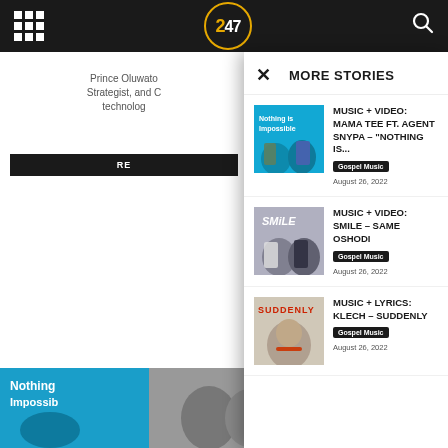247 (logo nav bar)
MORE STORIES
[Figure (photo): Album cover: Nothing is Impossible – two women on blue background]
MUSIC + VIDEO: MAMA TEE FT. AGENT SNYPA – "NOTHING IS...
Gospel Music   August 26, 2022
[Figure (photo): Album cover: SMILE – two men in white and dark shirts]
MUSIC + VIDEO: SMILE – Same Oshodi
Gospel Music   August 26, 2022
[Figure (photo): Album cover: SUDDENLY – man with red beads]
MUSIC + LYRICS: Klech – Suddenly
Gospel Music   August 26, 2022